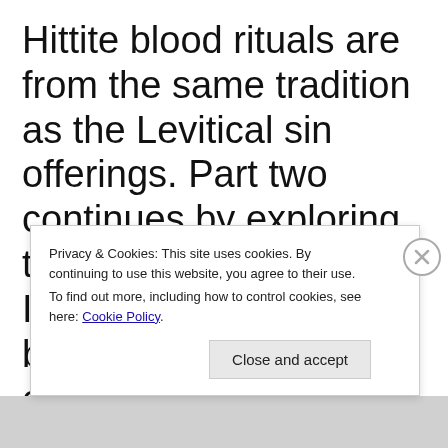Hittite blood rituals are from the same tradition as the Levitical sin offerings. Part two continues by exploring the finer facets of the Israelite and Hittite blood ritual in order to explain the symbolism and meaning encompassing blood ritual's expiatory nature. In doing s...
Privacy & Cookies: This site uses cookies. By continuing to use this website, you agree to their use. To find out more, including how to control cookies, see here: Cookie Policy